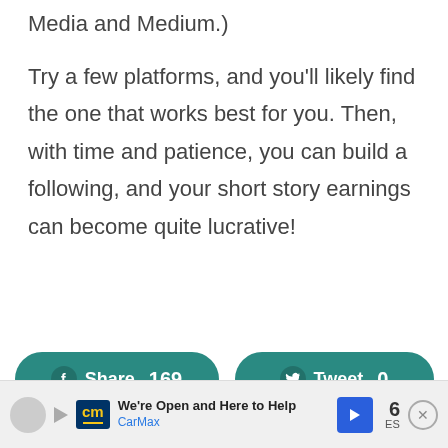Media and Medium.)
Try a few platforms, and you'll likely find the one that works best for you. Then, with time and patience, you can build a following, and your short story earnings can become quite lucrative!
[Figure (other): Facebook Share button with count 169 and Twitter Tweet button with count 0]
[Figure (other): Advertisement bar: Pinterest icon, play button, CarMax logo, 'We're Open and Here to Help CarMax' text, navigation arrow, number 6, close button]